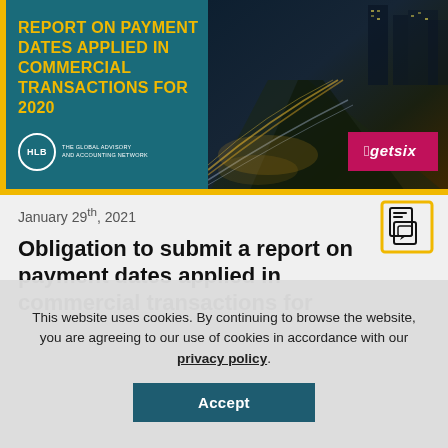[Figure (illustration): Banner for 'Report on Payment Dates Applied in Commercial Transactions for 2020' showing yellow title text on teal background with city/highway night photo on right, HLB logo bottom left, getsix logo bottom right]
January 29th, 2021
Obligation to submit a report on payment dates applied in commercial transactions for
This website uses cookies. By continuing to browse the website, you are agreeing to our use of cookies in accordance with our privacy policy.